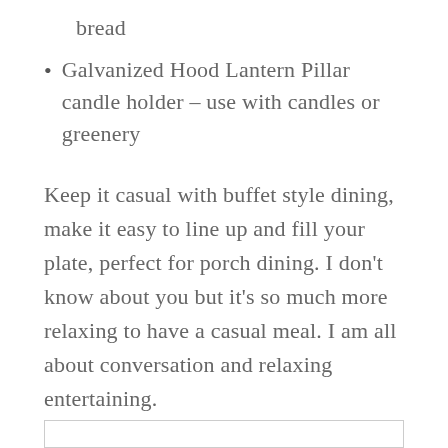bread
Galvanized Hood Lantern Pillar candle holder – use with candles or greenery
Keep it casual with buffet style dining, make it easy to line up and fill your plate, perfect for porch dining. I don't know about you but it's so much more relaxing to have a casual meal. I am all about conversation and relaxing entertaining.
Click each item to SHOP THE LOOK